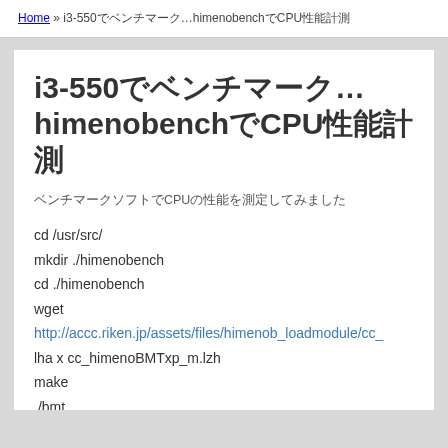Home » i3-550でベンチマーク…himenobenchでCPU性能計測
i3-550でベンチマーク…himenobenchでCPU性能計測
ベンチマークソフトでCPUの性能を測定してみました
cd /usr/src/
mkdir ./himenobench
cd ./himenobench
wget
http://accc.riken.jp/assets/files/himenob_loadmodule/cc_
lha x cc_himenoBMTxp_m.lzh
make
./bmt
Intel(R) Xeon(TM) CPU 3.20GHz+2GB(DDR2)で